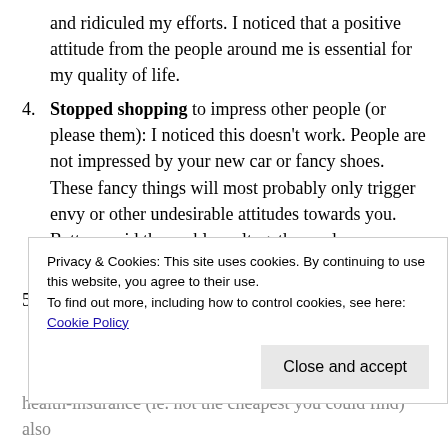and ridiculed my efforts. I noticed that a positive attitude from the people around me is essential for my quality of life.
Stopped shopping to impress other people (or please them): I noticed this doesn't work. People are not impressed by your new car or fancy shoes. These fancy things will most probably only trigger envy or other undesirable attitudes towards you. Better avoid the problem altogether and save money instead.
Stopped watching TV: I sold my TV in 2001 and never bought it ever since. Watching TV now seems ridiculous given the low quality of the programs, amount of
Privacy & Cookies: This site uses cookies. By continuing to use this website, you agree to their use.
To find out more, including how to control cookies, see here: Cookie Policy
health-insurance (ie. not the cheapest you could find) also